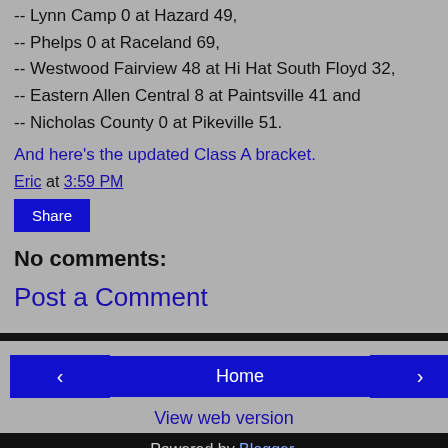-- Lynn Camp 0 at Hazard 49,
-- Phelps 0 at Raceland 69,
-- Westwood Fairview 48 at Hi Hat South Floyd 32,
-- Eastern Allen Central 8 at Paintsville 41 and
-- Nicholas County 0 at Pikeville 51.
And here's the updated Class A bracket.
Eric at 3:59 PM
Share
No comments:
Post a Comment
Home | View web version | Powered by Blogger.